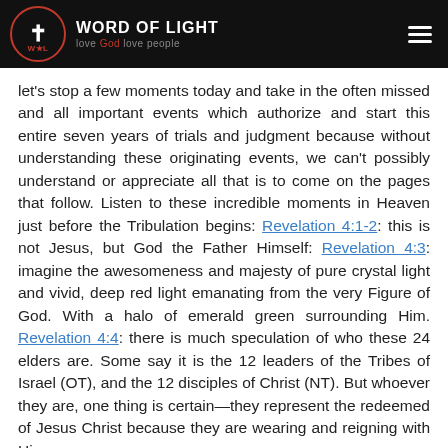Word of Light — love God, love people
let's stop a few moments today and take in the often missed and all important events which authorize and start this entire seven years of trials and judgment because without understanding these originating events, we can't possibly understand or appreciate all that is to come on the pages that follow. Listen to these incredible moments in Heaven just before the Tribulation begins: Revelation 4:1-2: this is not Jesus, but God the Father Himself: Revelation 4:3: imagine the awesomeness and majesty of pure crystal light and vivid, deep red light emanating from the very Figure of God. With a halo of emerald green surrounding Him. Revelation 4:4: there is much speculation of who these 24 elders are. Some say it is the 12 leaders of the Tribes of Israel (OT), and the 12 disciples of Christ (NT). But whoever they are, one thing is certain—they represent the redeemed of Jesus Christ because they are wearing and reigning with Him.